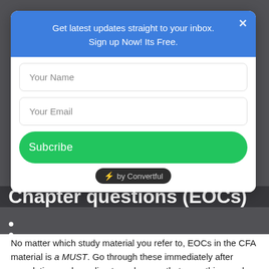[Figure (screenshot): Email subscription modal popup with blue header reading 'Get latest updates straight to your inbox. Sign up Now! Its Free.' with name input, email input, and green Subscribe button, powered by Convertful]
Chapter questions (EOCs)
•
•
No matter which study material you refer to, EOCs in the CFA material is a MUST. Go through these immediately after completing each reading to make sure that everything sunk in. Mark any questions that you have trouble with so you know which ones to revisit later.
Step 5: Attempt more